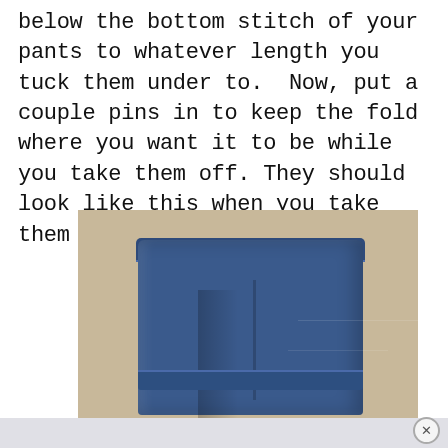below the bottom stitch of your pants to whatever length you tuck them under to. Now, put a couple pins in to keep the fold where you want it to be while you take them off. They should look like this when you take them off:
[Figure (photo): Photo of folded dark blue denim jeans leg showing a tucked fold, placed on a tan/beige surface. The jeans fabric is dark indigo blue with visible fabric texture.]